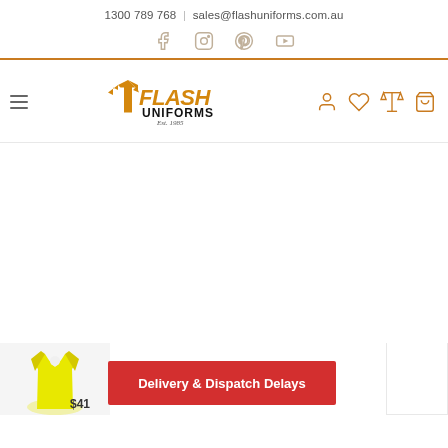1300 789 768  |  sales@flashuniforms.com.au
[Figure (illustration): Social media icons: Facebook, Instagram, Pinterest, YouTube]
[Figure (logo): Flash Uniforms logo with text FLASH UNIFORMS Est. 1985, hamburger menu, user, wishlist, compare and cart icons]
Delivery & Dispatch Delays